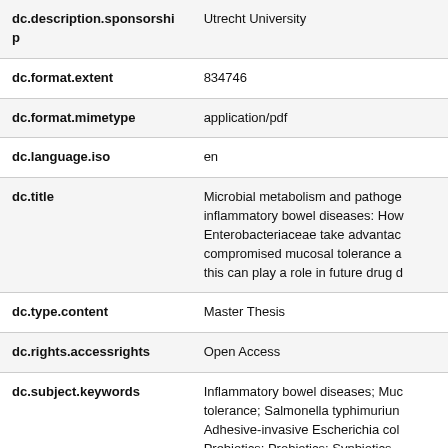| Field | Value |
| --- | --- |
| dc.description.sponsorship | Utrecht University |
| dc.format.extent | 834746 |
| dc.format.mimetype | application/pdf |
| dc.language.iso | en |
| dc.title | Microbial metabolism and pathoge inflammatory bowel diseases: How Enterobacteriaceae take advantage compromised mucosal tolerance a this can play a role in future drug d |
| dc.type.content | Master Thesis |
| dc.rights.accessrights | Open Access |
| dc.subject.keywords | Inflammatory bowel diseases; Muc tolerance; Salmonella typhimurium Adhesive-invasive Escherichia col Prebiotics; Probiotics; Synbiotics |
| dc.subject.courseuu | Drug Innovation |